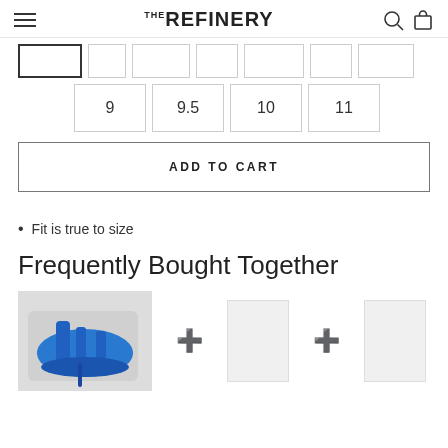THE REFINERY
Size selector buttons: 9, 9.5, 10, 11 (and partial row above)
ADD TO CART
Fit is true to size
Frequently Bought Together
[Figure (photo): Blue strappy heeled sandals on a light surface, shown with plus icons for frequently bought together products]